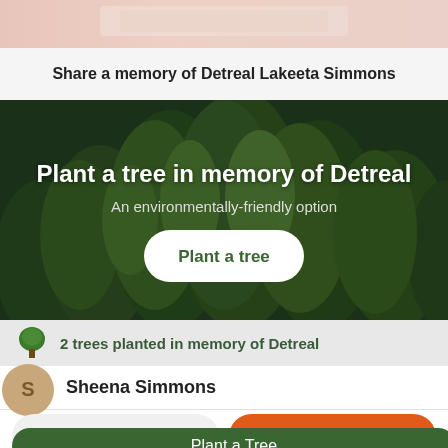[Figure (photo): Top strip of a floral/decorative image partially visible at the top of the page]
Share a memory of Detreal Lakeeta Simmons
[Figure (photo): Dense green forest/trees banner background with overlaid text 'Plant a tree in memory of Detreal', subtitle 'An environmentally-friendly option', and a white 'Plant a tree' button]
2 trees planted in memory of Detreal
Sheena Simmons
Share a memory
Send Flowers
Plant a Tree